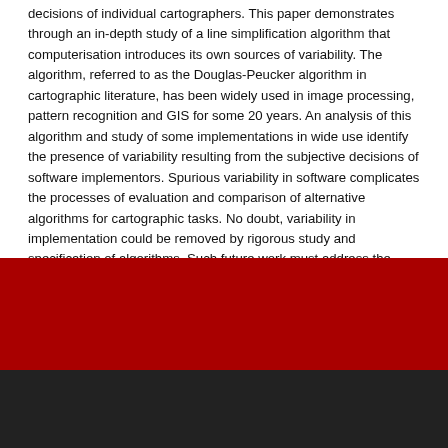decisions of individual cartographers. This paper demonstrates through an in-depth study of a line simplification algorithm that computerisation introduces its own sources of variability. The algorithm, referred to as the Douglas-Peucker algorithm in cartographic literature, has been widely used in image processing, pattern recognition and GIS for some 20 years. An analysis of this algorithm and study of some implementations in wide use identify the presence of variability resulting from the subjective decisions of software implementors. Spurious variability in software complicates the processes of evaluation and comparison of alternative algorithms for cartographic tasks. No doubt, variability in implementation could be removed by rigorous study and specification of algorithms. Such future work must address the presence of digitising error in cartographic data. Our analysis suggests that it would be difficult to adapt the Douglas-Peucker algorithm to cope with digitising error without altering the method.
Connect With Us  [social icons: Facebook, Twitter, Windows, Instagram, YouTube, Google+, Favourites, LinkedIn, Weibo]  Faculties & Depts  Contact Us  Legal notice  Freedom of Information  Privacy and Cookies Notice  ^ Back to top  Copyright © 2006-2016 Lancaster University